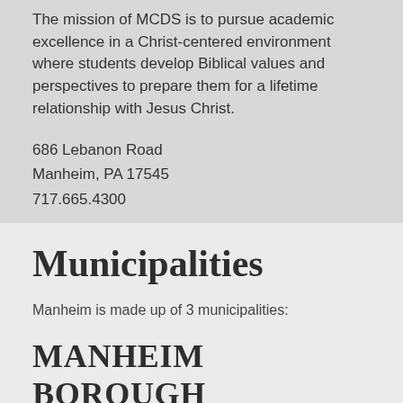The mission of MCDS is to pursue academic excellence in a Christ-centered environment where students develop Biblical values and perspectives to prepare them for a lifetime relationship with Jesus Christ.
686 Lebanon Road
Manheim, PA 17545
717.665.4300
Municipalities
Manheim is made up of 3 municipalities:
MANHEIM BOROUGH
manheimboro.org